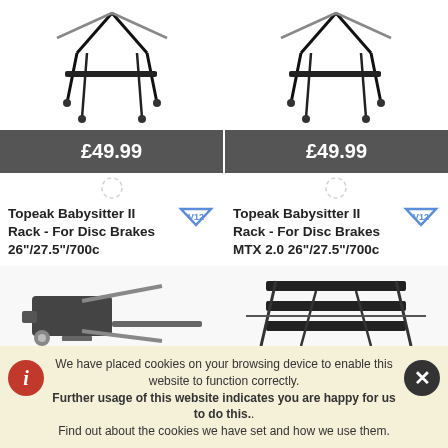[Figure (photo): Topeak Babysitter II Rack bicycle carrier product image - left column]
£49.99
[Figure (photo): Topeak Babysitter II Rack bicycle carrier product image - right column]
£49.99
Topeak Babysitter II Rack - For Disc Brakes 26"/27.5"/700c
Topeak Babysitter II Rack - For Disc Brakes MTX 2.0 26"/27.5"/700c
[Figure (photo): Partial product image bottom left - bicycle rack component]
[Figure (photo): Partial product image bottom right - bicycle rack]
We have placed cookies on your browsing device to enable this website to function correctly. Further usage of this website indicates you are happy for us to do this.. Find out about the cookies we have set and how we use them.